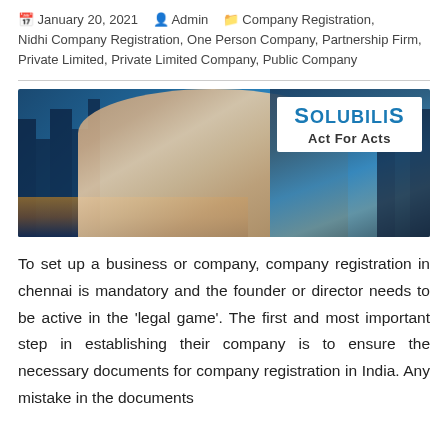January 20, 2021   Admin   Company Registration, Nidhi Company Registration, One Person Company, Partnership Firm, Private Limited, Private Limited Company, Public Company
[Figure (photo): Banner image showing a handshake in the foreground with a city skyline in the background. The Solubilis 'Act For Acts' logo appears in a white box in the top-right corner.]
To set up a business or company, company registration in chennai is mandatory and the founder or director needs to be active in the 'legal game'. The first and most important step in establishing their company is to ensure the necessary documents for company registration in India. Any mistake in the documents